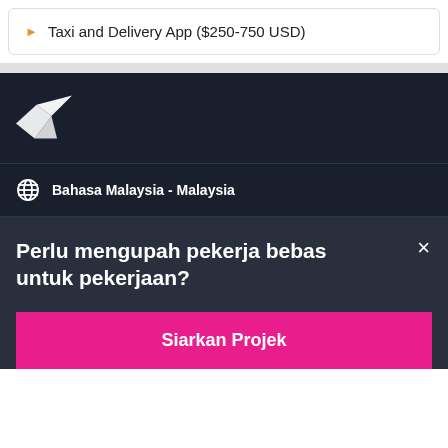Taxi and Delivery App ($250-750 USD)
[Figure (logo): Freelancer.com bird/arrow logo in white on dark navy background]
Bahasa Malaysia - Malaysia
Perlu mengupah pekerja bebas untuk pekerjaan?
Siarkan Projek